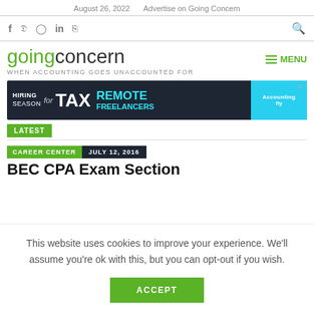August 26, 2022   Advertise on Going Concern
f  Twitter  Pinterest  in  RSS  [search icon]
goingconcern
WHEN ACCOUNTING GOES UNACCOUNTED FOR
MENU
[Figure (screenshot): Advertisement banner: HIRING SEASON for TAX REMOTE FREELANCERS - Accountingfly]
LATEST
CAREER CENTER   JULY 12, 2016
BEC CPA Exam Section
This website uses cookies to improve your experience. We'll assume you're ok with this, but you can opt-out if you wish.
ACCEPT